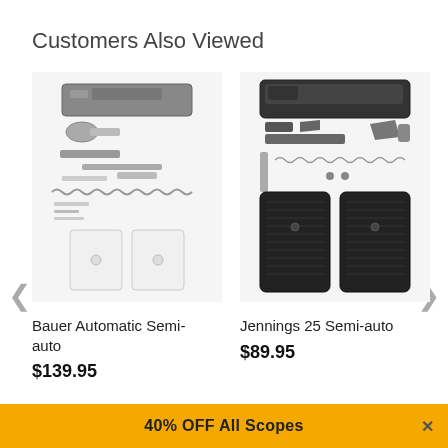Customers Also Viewed
[Figure (photo): Bauer Automatic Semi-auto gun parts kit scattered on white background including slide, barrel, springs, grip panels]
Bauer Automatic Semi-auto
$139.95
[Figure (photo): Jennings 25 Semi-auto gun parts kit scattered on white background including slide, barrel, springs, trigger, grip panels]
Jennings 25 Semi-auto
$89.95
40% OFF All Scopes